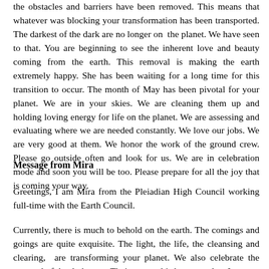the obstacles and barriers have been removed. This means that whatever was blocking your transformation has been transported. The darkest of the dark are no longer on the planet. We have seen to that. You are beginning to see the inherent love and beauty coming from the earth. This removal is making the earth extremely happy. She has been waiting for a long time for this transition to occur. The month of May has been pivotal for your planet. We are in your skies. We are cleaning them up and holding loving energy for life on the planet. We are assessing and evaluating where we are needed constantly. We love our jobs. We are very good at them. We honor the work of the ground crew. Please go outside often and look for us. We are in celebration mode and soon you will be too. Please prepare for all the joy that is coming your way.
Message from Mira
Greetings, I am Mira from the Pleiadian High Council working full-time with the Earth Council.
Currently, there is much to behold on the earth. The comings and goings are quite exquisite. The light, the life, the cleansing and clearing,  are transforming your planet. We also celebrate the removal of the dark ones. Their removal is long overdue. It